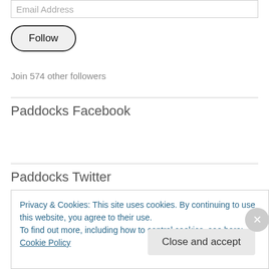Email Address
Follow
Join 574 other followers
Paddocks Facebook
Paddocks Twitter
Privacy & Cookies: This site uses cookies. By continuing to use this website, you agree to their use. To find out more, including how to control cookies, see here: Cookie Policy
Close and accept